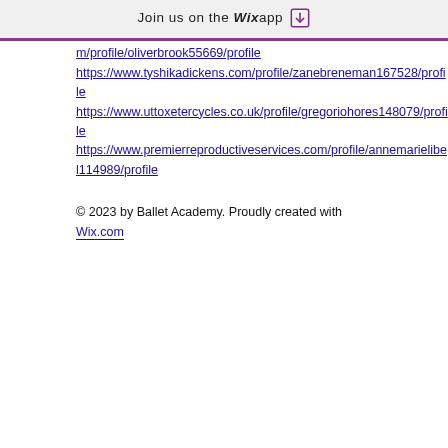Join us on the Wix app
m/profile/oliverbrook55669/profile
https://www.tyshikadickens.com/profile/zanebreneman167528/profile
https://www.uttoxetercycles.co.uk/profile/gregoriohores148079/profile
https://www.premierreproductiveservices.com/profile/annemarielibel114989/profile
© 2023 by Ballet Academy. Proudly created with Wix.com